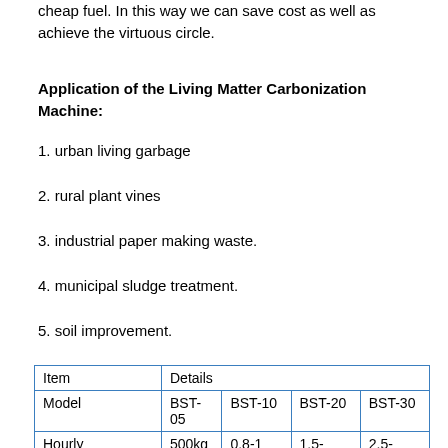cheap fuel. In this way we can save cost as well as achieve the virtuous circle.
Application of the Living Matter Carbonization Machine:
1. urban living garbage
2. rural plant vines
3. industrial paper making waste.
4. municipal sludge treatment.
5. soil improvement.
| Item | Details |  |  |  |
| --- | --- | --- | --- | --- |
| Model | BST-05 | BST-10 | BST-20 | BST-30 |
| Hourly Feeding Capacity | 500kg | 0.8-1 Tons | 1.5-2Tons | 2.5-3Tons |